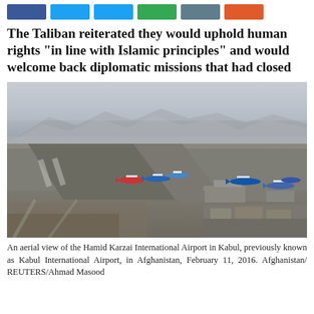[Figure (other): Social media share buttons: Facebook, Twitter, Twitter, Google+, LinkedIn, Reddit]
The Taliban reiterated they would uphold human rights "in line with Islamic principles" and would welcome back diplomatic missions that had closed
[Figure (photo): An aerial view of Hamid Karzai International Airport in Kabul, Afghanistan, showing runways, taxiways, and parked aircraft with mountains and haze in the background. February 11, 2016.]
An aerial view of the Hamid Karzai International Airport in Kabul, previously known as Kabul International Airport, in Afghanistan, February 11, 2016. Afghanistan/REUTERS/Ahmad Masood